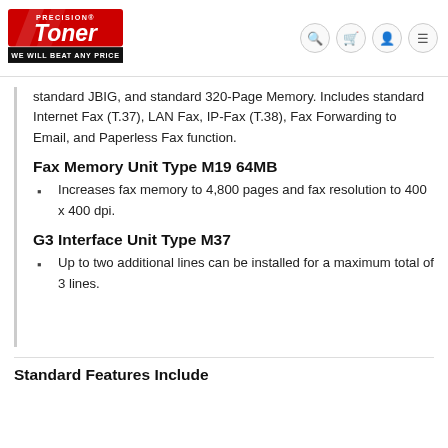Precision Toner — WE WILL BEAT ANY PRICE
standard JBIG, and standard 320-Page Memory. Includes standard Internet Fax (T.37), LAN Fax, IP-Fax (T.38), Fax Forwarding to Email, and Paperless Fax function.
Fax Memory Unit Type M19 64MB
Increases fax memory to 4,800 pages and fax resolution to 400 x 400 dpi.
G3 Interface Unit Type M37
Up to two additional lines can be installed for a maximum total of 3 lines.
Standard Features Include